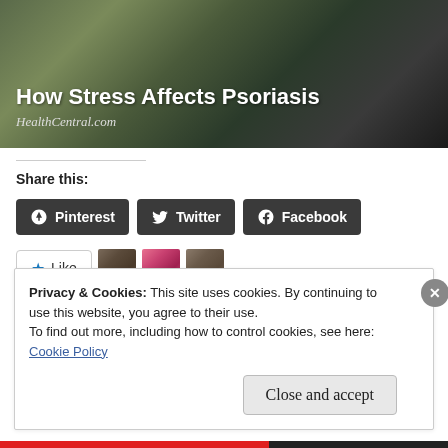[Figure (photo): Hero image with dark background showing a person, overlaid with article title 'How Stress Affects Psoriasis' and source 'HealthCentral.com']
How Stress Affects Psoriasis
HealthCentral.com
Share this:
Pinterest  Twitter  Facebook
[Figure (screenshot): Like button with star icon, and three blogger avatar thumbnails]
3 bloggers like this.
Privacy & Cookies: This site uses cookies. By continuing to use this website, you agree to their use.
To find out more, including how to control cookies, see here: Cookie Policy
Close and accept